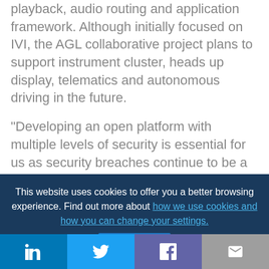playback, audio routing and application framework. Although initially focused on IVI, the AGL collaborative project plans to support instrument cluster, heads up display, telematics and autonomous driving in the future.
“Developing an open platform with multiple levels of security is essential for us as security breaches continue to be a concern across the industry,” said Dan Cauchy, General Manager of Automotive at The Linux Foundation. “These new members are a welcome
This website uses cookies to offer you a better browsing experience. Find out more about how we use cookies and how you can change your settings.
Accept
[Figure (other): Social media share bar with LinkedIn, Twitter, Facebook, and email icons]